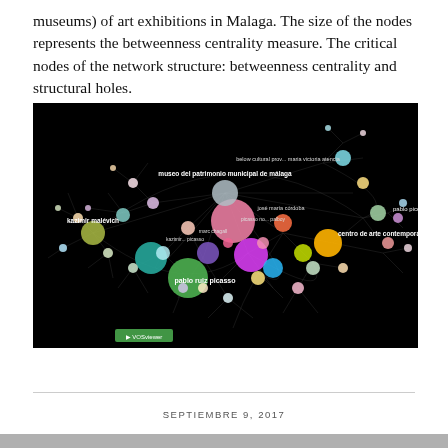museums) of art exhibitions in Malaga. The size of the nodes represents the betweenness centrality measure. The critical nodes of the network structure: betweenness centrality and structural holes.
[Figure (network-graph): Network graph on black background showing nodes of various colors and sizes connected by edges, representing art exhibitions in Malaga. Labeled nodes include: museo del patrimonio municipal de málaga, kazimir malévich, pablo ruiz picasso, centro de arte contemporáneo de málaga, pablo piceno, and many others. Node size represents betweenness centrality.]
SEPTIEMBRE 9, 2017